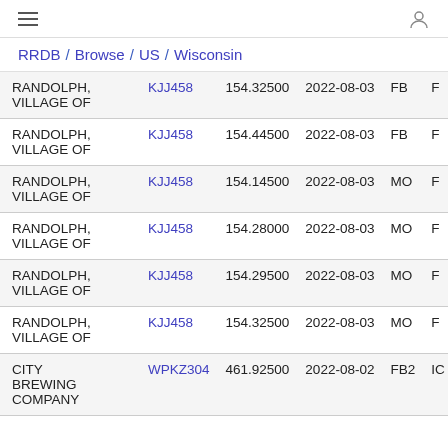≡  (user icon)
RRDB / Browse / US / Wisconsin
| Licensee | Callsign | Frequency | Date | Type | ... |
| --- | --- | --- | --- | --- | --- |
| RANDOLPH, VILLAGE OF | KJJ458 | 154.32500 | 2022-08-03 | FB | F |
| RANDOLPH, VILLAGE OF | KJJ458 | 154.44500 | 2022-08-03 | FB | F |
| RANDOLPH, VILLAGE OF | KJJ458 | 154.14500 | 2022-08-03 | MO | F |
| RANDOLPH, VILLAGE OF | KJJ458 | 154.28000 | 2022-08-03 | MO | F |
| RANDOLPH, VILLAGE OF | KJJ458 | 154.29500 | 2022-08-03 | MO | F |
| RANDOLPH, VILLAGE OF | KJJ458 | 154.32500 | 2022-08-03 | MO | F |
| CITY BREWING COMPANY | WPKZ304 | 461.92500 | 2022-08-02 | FB2 | IC |